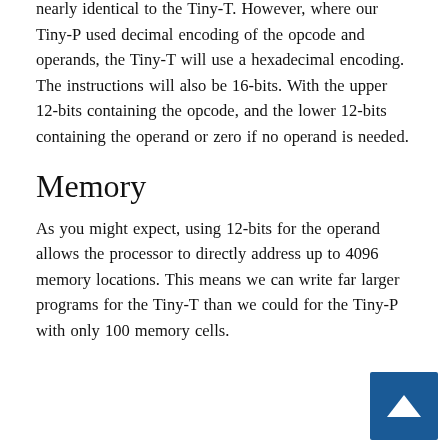nearly identical to the Tiny-T. However, where our Tiny-P used decimal encoding of the opcode and operands, the Tiny-T will use a hexadecimal encoding. The instructions will also be 16-bits. With the upper 12-bits containing the opcode, and the lower 12-bits containing the operand or zero if no operand is needed.
Memory
As you might expect, using 12-bits for the operand allows the processor to directly address up to 4096 memory locations. This means we can write far larger programs for the Tiny-T than we could for the Tiny-P with only 100 memory cells.